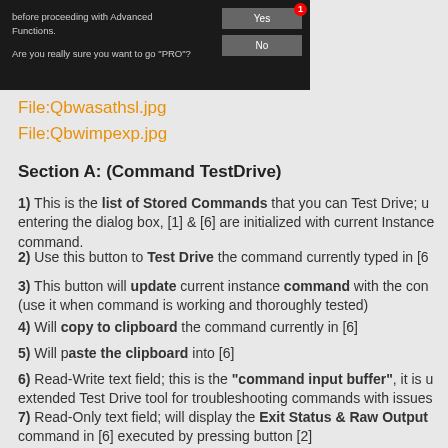[Figure (screenshot): Dark dialog screenshot showing text 'before proceeding with Advanced Functions.' and 'Are you really sure you want to go "PRO"?' with Yes (with red badge 1) and No buttons]
File:Qbwasathsl.jpg
File:Qbwimpexp.jpg
Section A: (Command TestDrive)
1) This is the list of Stored Commands that you can Test Drive; u... entering the dialog box, [1] & [6] are initialized with current Instance... command.
2) Use this button to Test Drive the command currently typed in [6...
3) This button will update current instance command with the con... (use it when command is working and thoroughly tested)
4) Will copy to clipboard the command currently in [6]
5) Will paste the clipboard into [6]
6) Read-Write text field; this is the "command input buffer", it is u... extended Test Drive tool for troubleshooting commands with issues...
7) Read-Only text field; will display the Exit Status & Raw Output... command in [6] executed by pressing button [2]
Section B: (Commands/Beecons Import/Export processing)
8) Button will export the command currently in [6]. Result of the e...